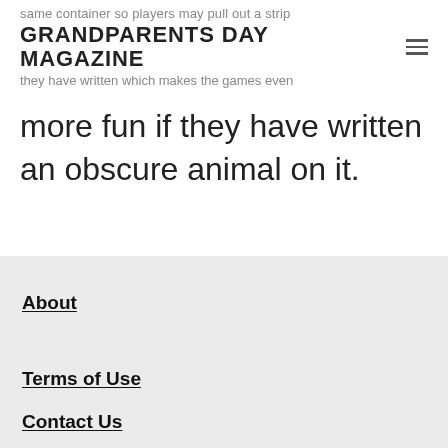same container so players may pull out a strip
GRANDPARENTS DAY MAGAZINE
they have written which makes the games even
more fun if they have written an obscure animal on it.
About
Terms of Use
Contact Us